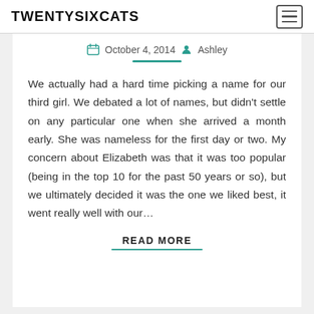TWENTYSIXCATS
October 4, 2014  Ashley
We actually had a hard time picking a name for our third girl. We debated a lot of names, but didn't settle on any particular one when she arrived a month early. She was nameless for the first day or two. My concern about Elizabeth was that it was too popular (being in the top 10 for the past 50 years or so), but we ultimately decided it was the one we liked best, it went really well with our...
READ MORE